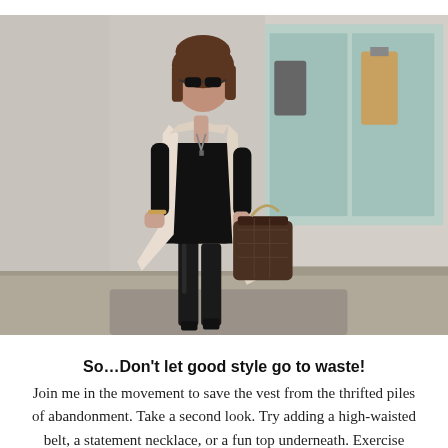[Figure (photo): A young woman wearing sunglasses, a black mini dress, a beige/cream open-front draped vest, knee-high black boots, and carrying a dark handbag, walking in front of a store.]
So…Don't let good style go to waste!
Join me in the movement to save the vest from the thrifted piles of abandonment. Take a second look. Try adding a high-waisted belt, a statement necklace, or a fun top underneath. Exercise those style muscles! You can find